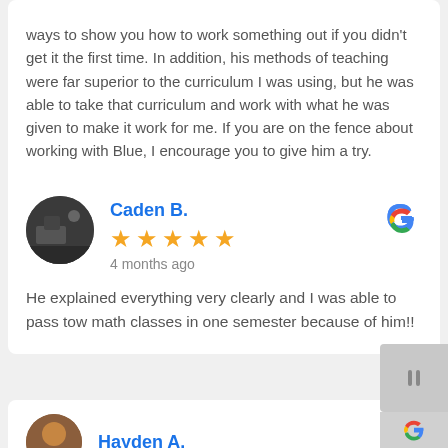ways to show you how to work something out if you didn't get it the first time. In addition, his methods of teaching were far superior to the curriculum I was using, but he was able to take that curriculum and work with what he was given to make it work for me. If you are on the fence about working with Blue, I encourage you to give him a try.
Caden B.
4 months ago
He explained everything very clearly and I was able to pass tow math classes in one semester because of him!!
Hayden A.